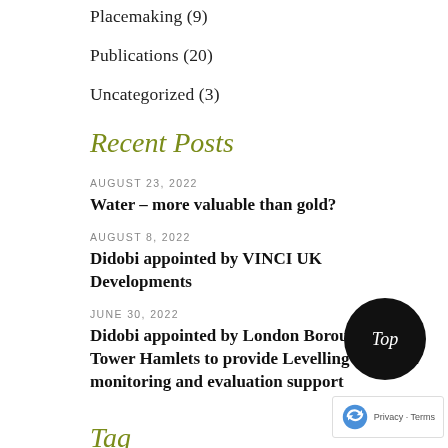Placemaking (9)
Publications (20)
Uncategorized (3)
Recent Posts
AUGUST 23, 2022
Water – more valuable than gold?
AUGUST 8, 2022
Didobi appointed by VINCI UK Developments
JUNE 30, 2022
Didobi appointed by London Borough of Tower Hamlets to provide Levelling Up Fund monitoring and evaluation support
Tag